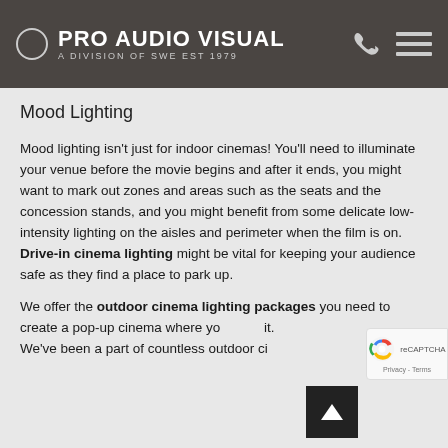PRO AUDIO VISUAL — A DIVISION OF SWE EST 1979
Mood Lighting
Mood lighting isn't just for indoor cinemas! You'll need to illuminate your venue before the movie begins and after it ends, you might want to mark out zones and areas such as the seats and the concession stands, and you might benefit from some delicate low-intensity lighting on the aisles and perimeter when the film is on. Drive-in cinema lighting might be vital for keeping your audience safe as they find a place to park up.
We offer the outdoor cinema lighting packages you need to create a pop-up cinema where you want it. We've been a part of countless outdoor cinema...